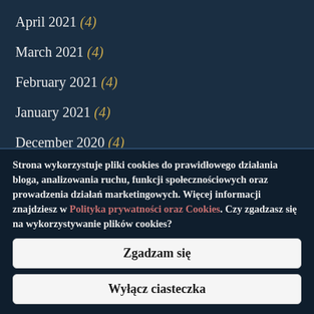April 2021 (4)
March 2021 (4)
February 2021 (4)
January 2021 (4)
December 2020 (4)
November 2020 (4)
Strona wykorzystuje pliki cookies do prawidłowego działania bloga, analizowania ruchu, funkcji społecznościowych oraz prowadzenia działań marketingowych. Więcej informacji znajdziesz w Polityka prywatności oraz Cookies. Czy zgadzasz się na wykorzystywanie plików cookies?
Zgadzam się
Wyłącz ciasteczka